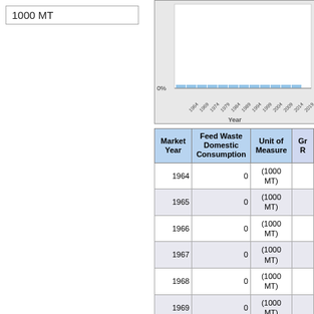1000 MT
[Figure (bar-chart): Bar chart showing Feed Waste Domestic Consumption from 1964 to 2019, x-axis shows years, y-axis starts at 0%]
| Market Year | Feed Waste Domestic Consumption | Unit of Measure | Gr R |
| --- | --- | --- | --- |
| 1964 | 0 | (1000 MT) |  |
| 1965 | 0 | (1000 MT) |  |
| 1966 | 0 | (1000 MT) |  |
| 1967 | 0 | (1000 MT) |  |
| 1968 | 0 | (1000 MT) |  |
| 1969 | 0 | (1000 MT) |  |
| 1970 | 0 | (1000 MT) |  |
| 1971 | 0 | (1000 MT) |  |